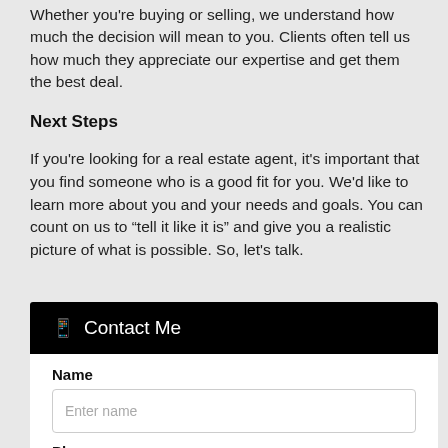Whether you're buying or selling, we understand how much the decision will mean to you. Clients often tell us how much they appreciate our expertise and get them the best deal.
Next Steps
If you're looking for a real estate agent, it's important that you find someone who is a good fit for you. We'd like to learn more about you and your needs and goals. You can count on us to “tell it like it is” and give you a realistic picture of what is possible. So, let's talk.
Contact Me
Name
Enter name
Phone
Enter phone
Email